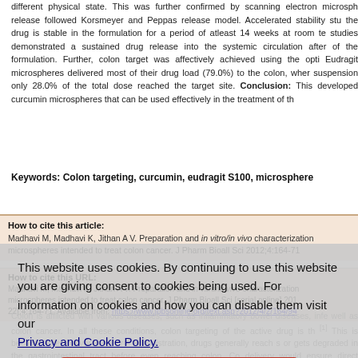different physical state. This was further confirmed by scanning electron microsph release followed Korsmeyer and Peppas release model. Accelerated stability stu the drug is stable in the formulation for a period of atleast 14 weeks at room te studies demonstrated a sustained drug release into the systemic circulation after of the formulation. Further, colon target was affectively achieved using the opti Eudragit microspheres delivered most of their drug load (79.0%) to the colon, wher suspension only 28.0% of the total dose reached the target site. Conclusion: This developed curcumin microspheres that can be used effectively in the treatment of th
Keywords: Colon targeting, curcumin, eudragit S100, microsphere
How to cite this article:
Madhavi M, Madhavi K, Jithan A V. Preparation and in vitro/in vivo characterization microspheres intended to treat colon cancer. J Pharm Bioall Sci 2012;4:164-71
How to cite this URL:
Madhavi M, Madhavi K, Jithan A V. Preparation and in vitro/in vivo characterization microspheres intended to treat colon cancer. J Pharm Bioall Sci [serial online] 201 22];4:164-71. Available from: https://www.jpbsonline.org/text.asp?2012/4/2/164/94
This website uses cookies. By continuing to use this website you are giving consent to cookies being used. For information on cookies and how you can disable them visit our Privacy and Cookie Policy.
AGREE & PROCEED
Colon is afflicted with various diseases, such as inflammatory bowel diseases, infe well as colon cancer. In all these conditions, colon targeting of the active drug is th [1] This is because after conventional oral administration, drugs generally reach s or gets degraded in the gastrointestinal tract before even reaching colon. Co delivery would ensure direct treatment at the disease site, lower dose and offer